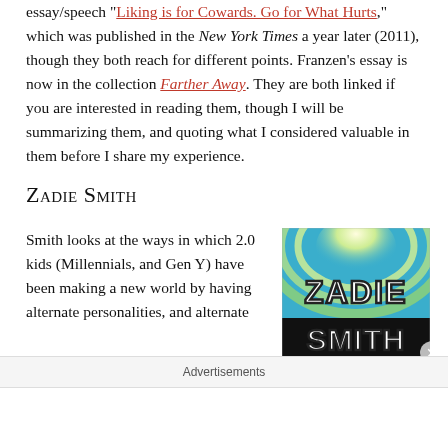essay/speech "Liking is for Cowards. Go for What Hurts," which was published in the New York Times a year later (2011), though they both reach for different points. Franzen's essay is now in the collection Farther Away. They are both linked if you are interested in reading them, though I will be summarizing them, and quoting what I considered valuable in them before I share my experience.
Zadie Smith
Smith looks at the ways in which 2.0 kids (Millennials, and Gen Y) have been making a new world by having alternate personalities, and alternate
[Figure (photo): Book cover or promotional image for Zadie Smith, showing her name in large bold Art Deco style lettering on a blue and yellow background with radiating light effects.]
Advertisements